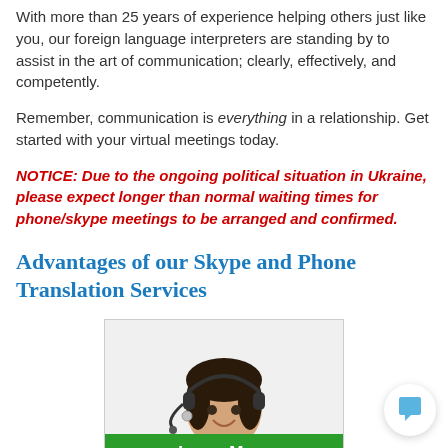With more than 25 years of experience helping others just like you, our foreign language interpreters are standing by to assist in the art of communication; clearly, effectively, and competently.
Remember, communication is everything in a relationship. Get started with your virtual meetings today.
NOTICE: Due to the ongoing political situation in Ukraine, please expect longer than normal waiting times for phone/skype meetings to be arranged and confirmed.
Advantages of our Skype and Phone Translation Services
[Figure (photo): Woman with headset smiling, with a green 'Learn More About Our' banner at the bottom of the image]
[Figure (other): Chat bubble icon in bottom right corner]